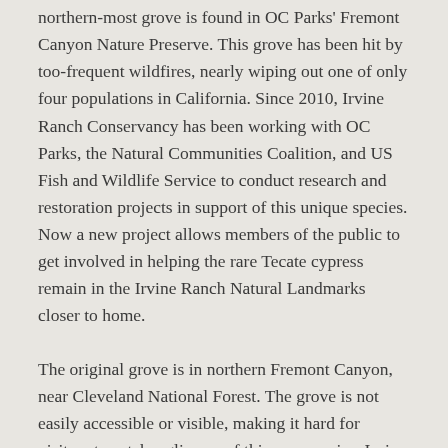northern-most grove is found in OC Parks' Fremont Canyon Nature Preserve. This grove has been hit by too-frequent wildfires, nearly wiping out one of only four populations in California. Since 2010, Irvine Ranch Conservancy has been working with OC Parks, the Natural Communities Coalition, and US Fish and Wildlife Service to conduct research and restoration projects in support of this unique species. Now a new project allows members of the public to get involved in helping the rare Tecate cypress remain in the Irvine Ranch Natural Landmarks closer to home.
The original grove is in northern Fremont Canyon, near Cleveland National Forest. The grove is not easily accessible or visible, making it hard for visitors to catch a glimpse of this rare species. Irvine Ranch Conservancy scientists and volunteers have planted hundreds of Tecate cypress while conducting research on the most effective methods for restoring them in their natural habitat. Their research showed that seedlings grown in a nursery were more likely to survive than direct-planted seeds at the grove site. They also found that while varying the amount of supplemental water given to the plants had little effect on growth, large amounts